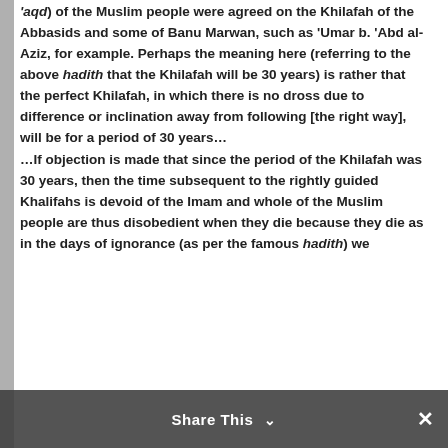'aqd) of the Muslim people were agreed on the Khilafah of the Abbasids and some of Banu Marwan, such as 'Umar b. 'Abd al-Aziz, for example. Perhaps the meaning here (referring to the above hadith that the Khilafah will be 30 years) is rather that the perfect Khilafah, in which there is no dross due to difference or inclination away from following [the right way], will be for a period of 30 years…

…If objection is made that since the period of the Khilafah was 30 years, then the time subsequent to the rightly guided Khalifahs is devoid of the Imam and whole of the Muslim people are thus disobedient when they die because they die as in the days of ignorance (as per the famous hadith) we
Share This ∨  ✕